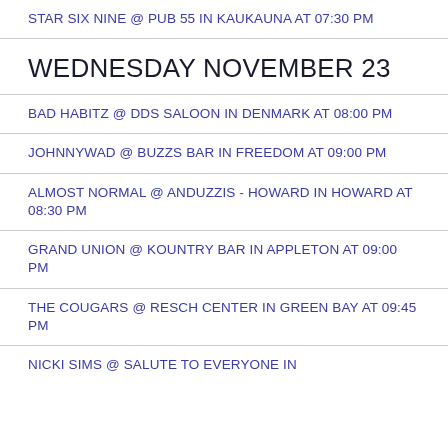STAR SIX NINE @ PUB 55 IN KAUKAUNA AT 07:30 PM
WEDNESDAY NOVEMBER 23
BAD HABITZ @ DDS SALOON IN DENMARK AT 08:00 PM
JOHNNYWAD @ BUZZS BAR IN FREEDOM AT 09:00 PM
ALMOST NORMAL @ ANDUZZIS - HOWARD IN HOWARD AT 08:30 PM
GRAND UNION @ KOUNTRY BAR IN APPLETON AT 09:00 PM
THE COUGARS @ RESCH CENTER IN GREEN BAY AT 09:45 PM
NICKI SIMS @ SALUTE TO EVERYONE IN